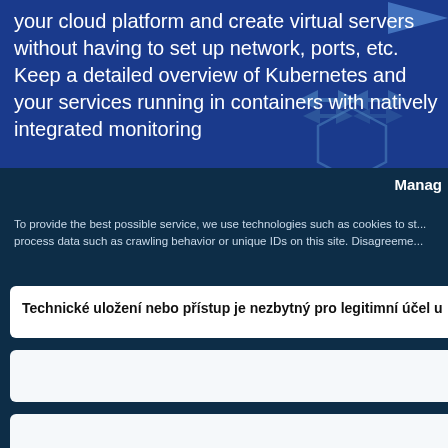your cloud platform and create virtual servers without having to set up network, ports, etc. Keep a detailed overview of Kubernetes and your services running in containers with natively integrated monitoring
[Figure (illustration): Dark blue background with decorative arrow and chevron shapes on the right side]
Manag
To provide the best possible service, we use technologies such as cookies to st... process data such as crawling behavior or unique IDs on this site. Disagreeme...
Technické uložení nebo přístup je nezbytný pro legitimní účel u
Sh